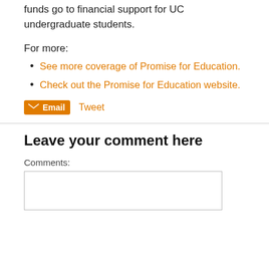funds go to financial support for UC undergraduate students.
For more:
See more coverage of Promise for Education.
Check out the Promise for Education website.
Email  Tweet
Leave your comment here
Comments: